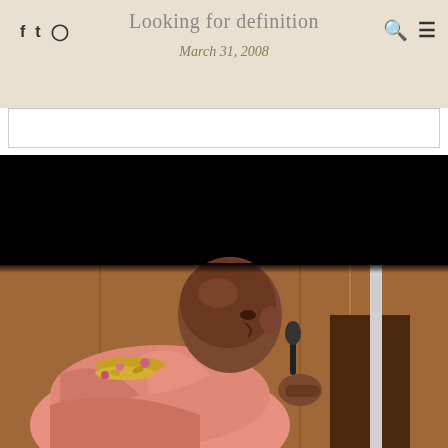Looking for definition | March 31, 2008
[Figure (photo): A bald man in pink/saffron robes with flower garlands around his neck, speaking at a microphone at a podium, photographed against a wood-paneled background. The upper portion of the image area is black. The photo appears to be from 2008.]